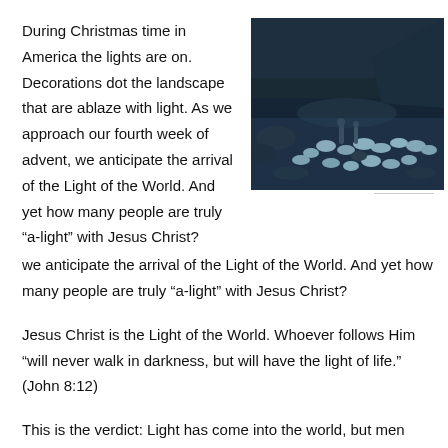During Christmas time in America the lights are on. Decorations dot the landscape that are ablaze with light. As we approach our fourth week of advent, we anticipate the arrival of the Light of the World. And yet how many people are truly “a-light” with Jesus Christ?
[Figure (photo): A nighttime or dark-toned photograph of a flock of sheep grazing on a hillside, with a shepherd figure visible among them. The image has a blue-gray tonal quality suggesting moonlight or low light conditions.]
Jesus Christ is the Light of the World. Whoever follows Him “will never walk in darkness, but will have the light of life.” (John 8:12)
This is the verdict: Light has come into the world, but men loved darkness instead of light because their deeds were evil. Everyone who does evil hates the light, and will not come into the light for fear that his deeds will be exposed. (John 3:19-20)
Jesus said: “I have come into the world as a light, so that no one